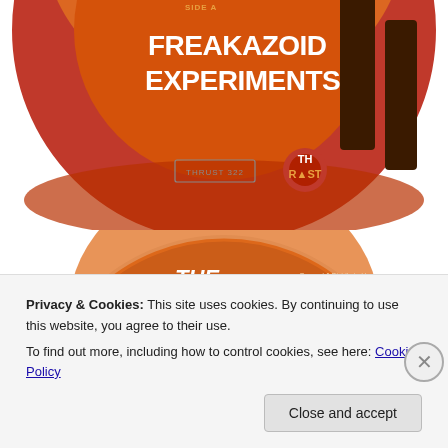[Figure (illustration): Top portion of a vinyl record label for 'Freakazoid Experiments' on Thrust Records, orange/brown color with silhouette figure and SIDE A label text]
[Figure (illustration): Vinyl record label for 'The Freakazoids' on Thrust Records. Orange/brown color scheme with silhouette of horned figure. Side AA 01: WHAT IS A DJ 2012, Side AA 02: WHAT IS AN ACAPELLA. Pressed & Distributed by Prime Direct Distribution, Made in the EU.]
Privacy & Cookies: This site uses cookies. By continuing to use this website, you agree to their use.
To find out more, including how to control cookies, see here: Cookie Policy
Close and accept